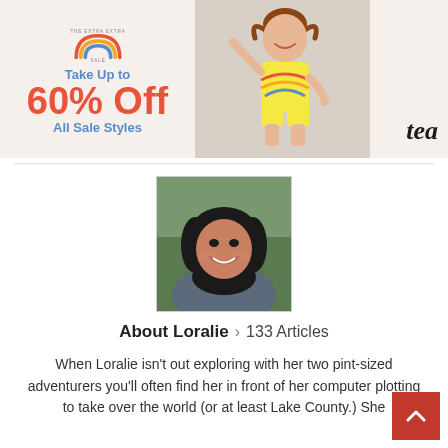[Figure (infographic): Advertisement banner for 'tea' children's clothing brand. Left side has rainbow logo with text 'THE EXTRA EXTRA SALE', 'Take Up to', '60% Off', 'All Sale Styles' on a cream background. Center shows a photo of a young girl in a rainbow-print romper posing playfully. Right side shows the 'tea' brand name in script on cream background.]
[Figure (photo): Headshot portrait of Loralie, a woman with dark shoulder-length hair, smiling, wearing a grey jacket, photographed outdoors with a blurred green background.]
About Loralie > 133 Articles
When Loralie isn't out exploring with her two pint-sized adventurers you'll often find her in front of her computer plotting to take over the world (or at least Lake County.) She